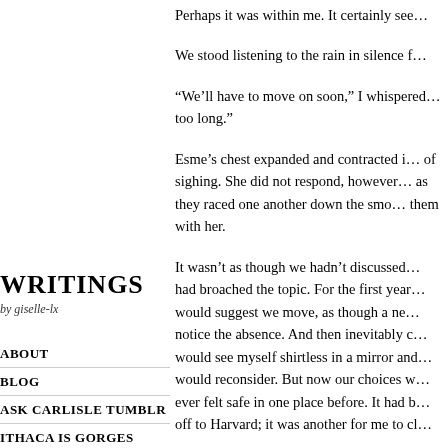Perhaps it was within me. It certainly see…
We stood listening to the rain in silence f…
“We’ll have to move on soon,” I whispered… too long.”
Esme’s chest expanded and contracted i… of sighing. She did not respond, however… as they raced one another down the smo… them with her.
Writings
by giselle-lx
It wasn’t as though we hadn’t discussed… had broached the topic. For the first year… would suggest we move, as though a ne… notice the absence. And then inevitably c… would see myself shirtless in a mirror and… would reconsider. But now our choices w… ever felt safe in one place before. It had b… off to Harvard; it was another for me to cl…
But neither of us could force ourselves to…
ABOUT
BLOG
ASK CARLISLE TUMBLR
ITHACA IS GORGES
STREGONI BENEFICI
ONE DAY